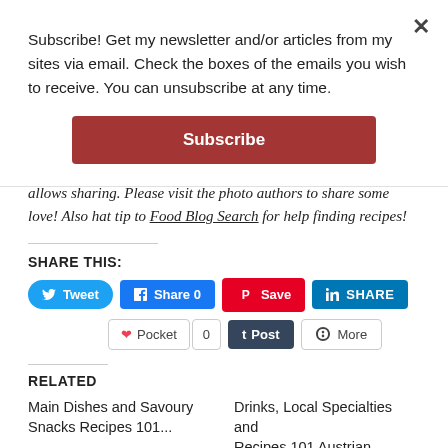Subscribe! Get my newsletter and/or articles from my sites via email. Check the boxes of the emails you wish to receive. You can unsubscribe at any time.
allows sharing. Please visit the photo authors to share some love! Also hat tip to Food Blog Search for help finding recipes!
SHARE THIS:
Tweet  Share 0  Save  SHARE
Pocket  0  Post  More
RELATED
Main Dishes and Savoury Snacks Recipes 101...
Drinks, Local Specialties and Recipes 101 Austrian...